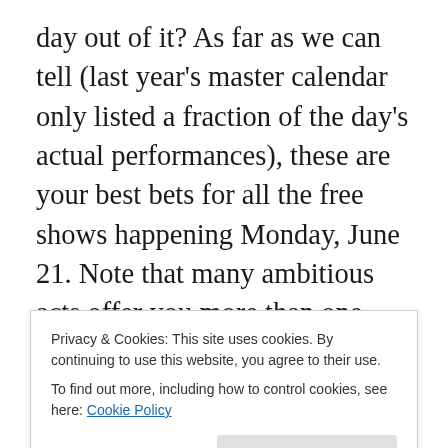day out of it? As far as we can tell (last year's master calendar only listed a fraction of the day's actual performances), these are your best bets for all the free shows happening Monday, June 21. Note that many ambitious acts offer you more than one chance to see them. As far as locations are concerned, Monday's best lineup is at the cube at Astor Place starting at a quarter to one with the Xylopholks, Electric Junkyard Gamelan at 1:45, Balthrop Alabama at 3:30, Black Sea Hotel at 4:30 and then Pearl and the Beard at 5:15. Also worth checking out later the country/blues night at 60 Jay St. Bar, the all-
Privacy & Cookies: This site uses cookies. By continuing to use this website, you agree to their use.
To find out more, including how to control cookies, see here: Cookie Policy
with DOA, Blanks 77, Hub City Stompers and all kinds of